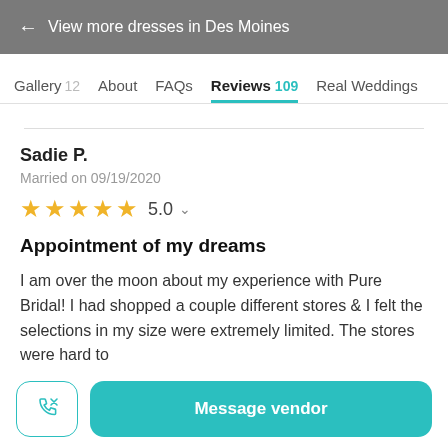← View more dresses in Des Moines
Gallery 12   About   FAQs   Reviews 109   Real Weddings
Sadie P.
Married on 09/19/2020
★★★★★ 5.0
Appointment of my dreams
I am over the moon about my experience with Pure Bridal! I had shopped a couple different stores & I felt the selections in my size were extremely limited. The stores were hard to
Message vendor